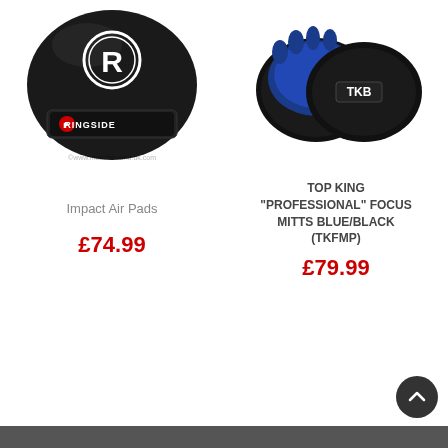[Figure (photo): Black Ringside Impact Air boxing focus pad/headgear with Ringside logo and R emblem, watermark www.musclebound.co.uk]
[Figure (photo): Top King blue and black professional focus mitts pair, with TKB label and Top King logo]
Impact Air Pads
£74.99
TOP KING "PROFESSIONAL" FOCUS MITTS BLUE/BLACK (TKFMP)
£79.99